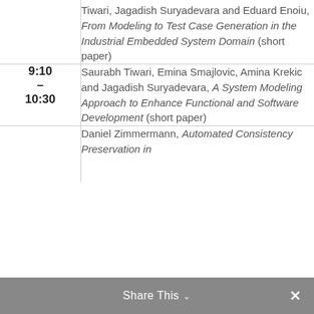| Time | Presentation |
| --- | --- |
|  | Tiwari, Jagadish Suryadevara and Eduard Enoiu, From Modeling to Test Case Generation in the Industrial Embedded System Domain (short paper) |
| 9:10 – 10:30 | Saurabh Tiwari, Emina Smajlovic, Amina Krekic and Jagadish Suryadevara, A System Modeling Approach to Enhance Functional and Software Development (short paper) |
|  | Daniel Zimmermann, Automated Consistency Preservation in… |
Share This